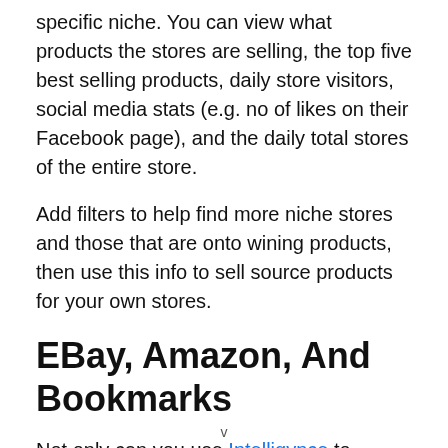specific niche. You can view what products the stores are selling, the top five best selling products, daily store visitors, social media stats (e.g. no of likes on their Facebook page), and the daily total stores of the entire store.
Add filters to help find more niche stores and those that are onto wining products, then use this info to sell source products for your own stores.
EBay, Amazon, And Bookmarks
Not only can you use Intelligynce to search for products on Shopify stores but also those selling on
v